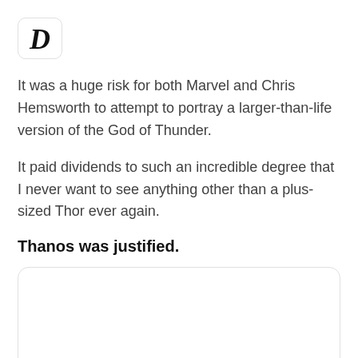[Figure (logo): Italic bold letter D logo in a rounded rectangle box]
It was a huge risk for both Marvel and Chris Hemsworth to attempt to portray a larger-than-life version of the God of Thunder.
It paid dividends to such an incredible degree that I never want to see anything other than a plus-sized Thor ever again.
Thanos was justified.
[Figure (other): Empty rounded rectangle box]